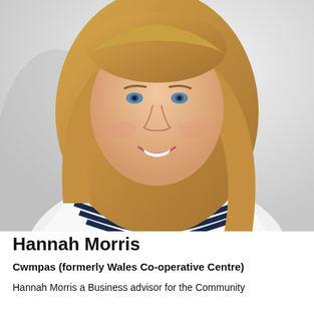[Figure (photo): Professional headshot of Hannah Morris, a blonde woman smiling, wearing a navy and white striped top, photographed against a white/light grey background.]
Hannah Morris
Cwmpas (formerly Wales Co-operative Centre)
Hannah Morris a Business advisor for the Community